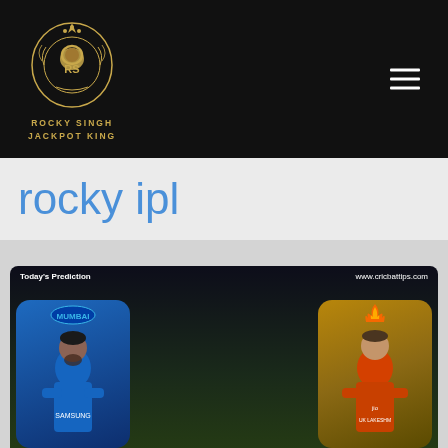[Figure (logo): Rocky Singh Jackpot King logo — gold ornate emblem with RS initials, crown, lion, laurel wreath]
ROCKY SINGH
JACKPOT KING
rocky ipl
[Figure (photo): IPL match prediction card showing Mumbai Indians vs Sunrisers Hyderabad. Today's Prediction | www.cricbattips.com | ROCKY SINGH JACKPOT KING | 7:30PM | 31st Match | vivo IPL logo | Two players (Rohit Sharma in MI blue jersey, Kane Williamson in SRH orange jersey)]